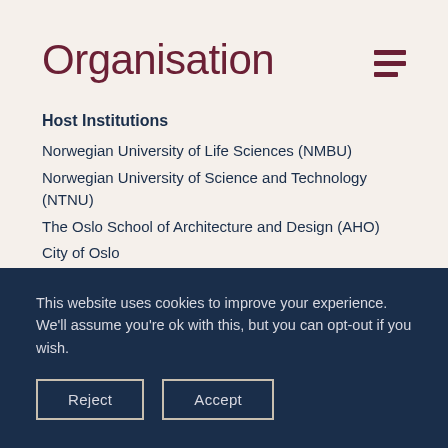Organisation
Host Institutions
Norwegian University of Life Sciences (NMBU)
Norwegian University of Science and Technology (NTNU)
The Oslo School of Architecture and Design (AHO)
City of Oslo
This website uses cookies to improve your experience. We'll assume you're ok with this, but you can opt-out if you wish.
Reject
Accept